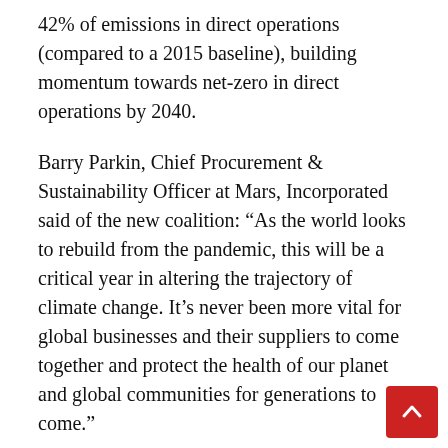42% of emissions in direct operations (compared to a 2015 baseline), building momentum towards net-zero in direct operations by 2040.
Barry Parkin, Chief Procurement & Sustainability Officer at Mars, Incorporated said of the new coalition: “As the world looks to rebuild from the pandemic, this will be a critical year in altering the trajectory of climate change. It’s never been more vital for global businesses and their suppliers to come together and protect the health of our planet and global communities for generations to come.”
“Mars is making strong progress to cut emissions in our direct operations and will hit our 2025 target well ahead of our goal. However, with our extended supply chain accounting for over 94 per cent of our emissions, it’s crucial we also partner with our suppliers to drive broad transformations and